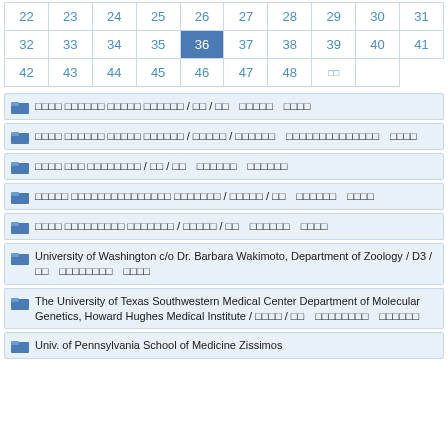| 22 | 23 | 24 | 25 | 26 | 27 | 28 | 29 | 30 | 31 |
| --- | --- | --- | --- | --- | --- | --- | --- | --- | --- |
| 32 | 33 | 34 | 35 | 36 | 37 | 38 | 39 | 40 | 41 |
| 42 | 43 | 44 | 45 | 46 | 47 | 48 | □□ |  |  |
□□□□ □□□□□□ □□□□□ □□□□□□ / □□ / □□   □□□□□   □□□□
□□□□ □□□□□□ □□□□□ □□□□□□ / □□□□□ / □□□□□□   □□□□□□□□□□□□□□   □□□□
□□□□ □□□ □□□□□□□□ / □□ / □□   □□□□□□   □□□□□□
□□□□□ □□□□□□□□□□□□□□□ □□□□□□□ / □□□□□ / □□   □□□□□□   □□□□
□□□□ □□□□□□□□□ □□□□□□□ / □□□□□ / □□   □□□□□□   □□□□
University of Washington c/o Dr. Barbara Wakimoto, Department of Zoology / D3 / □□   □□□□□□□□   □□□□
The University of Texas Southwestern Medical Center Department of Molecular Genetics, Howard Hughes Medical Institute / □□□□ / □□   □□□□□□□□   □□□□□□
Univ. of Pennsylvania School of Medicine Zissimos